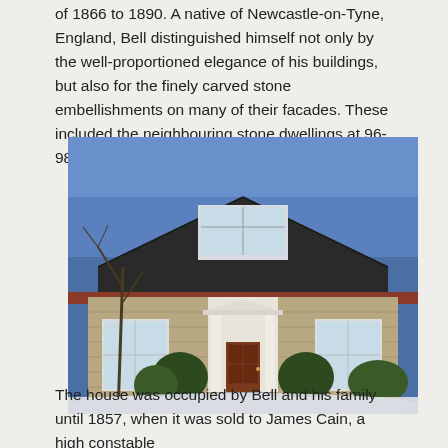of 1866 to 1890. A native of Newcastle-on-Tyne, England, Bell distinguished himself not only by the well-proportioned elegance of his buildings, but also for the finely carved stone embellishments on many of their facades. These included the neighbouring stone dwellings at 96-98 Water Street and 40 Albert Street.
[Figure (photo): Exterior photograph of a stone house in winter. The house has a steep dark metal roof with a dormer window on the upper floor. The front entrance features white columns forming a small portico with a wooden door. Two large windows flank the entrance. Bare trees and snow-covered ground are visible in the foreground.]
The house was occupied by Bell and his family until 1857, when it was sold to James Cain, a high constable